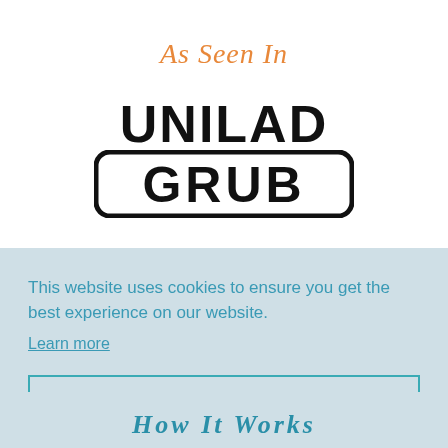As Seen In
[Figure (logo): UNILAD GRUB logo in bold black text with GRUB in a rounded rectangle border]
This website uses cookies to ensure you get the best experience on our website.
Learn more
Got it!
How It Works